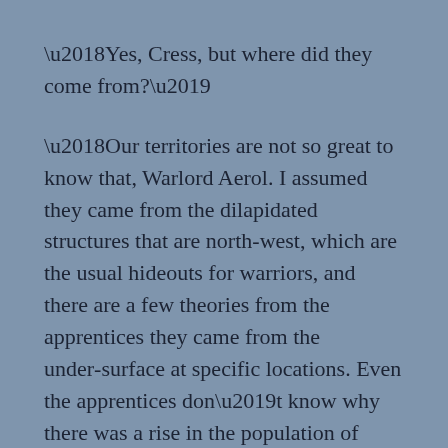‘Yes, Cress, but where did they come from?’
‘Our territories are not so great to know that, Warlord Aerol. I assumed they came from the dilapidated structures that are north-west, which are the usual hideouts for warriors, and there are a few theories from the apprentices they came from the under-surface at specific locations. Even the apprentices don’t know why there was a rise in the population of enemies. Now they’ve been culled, it may not matter until we’ve conquered further.’
Aerol stood and looked back the way they’d come.